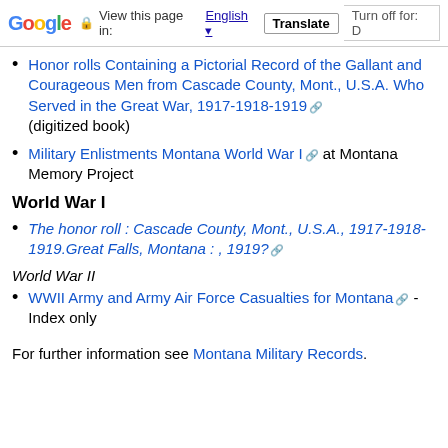Google  View this page in: English  Translate  Turn off for: D
Honor rolls Containing a Pictorial Record of the Gallant and Courageous Men from Cascade County, Mont., U.S.A. Who Served in the Great War, 1917-1918-1919 (digitized book)
Military Enlistments Montana World War I at Montana Memory Project
World War I
The honor roll : Cascade County, Mont., U.S.A., 1917-1918-1919.Great Falls, Montana : , 1919?
World War II
WWII Army and Army Air Force Casualties for Montana - Index only
For further information see Montana Military Records.